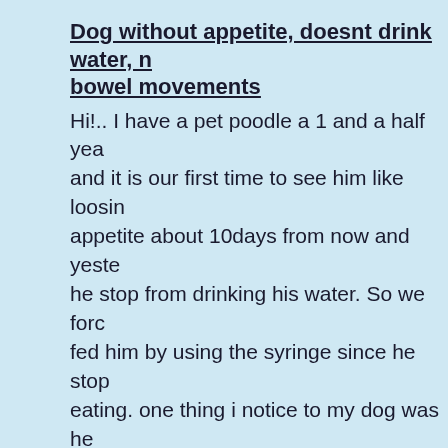Dog without appetite, doesnt drink water, no bowel movements
Hi!.. I have a pet poodle a 1 and a half yea and it is our first time to see him like loosin appetite about 10days from now and yeste he stop from drinking his water. So we forc fed him by using the syringe since he stop eating. one thing i notice to my dog was he from defecating for a week after we sent h the vet, his nose is dry, always like to rest one place. also his tummy is getting bigge the vet said that he doesn't have bloat sick
Dog tail has growth that looks like a claw
My 4 year old border collie has a small gro that resembles a claw on her tail. It broke o today when I was brushing her - first time f